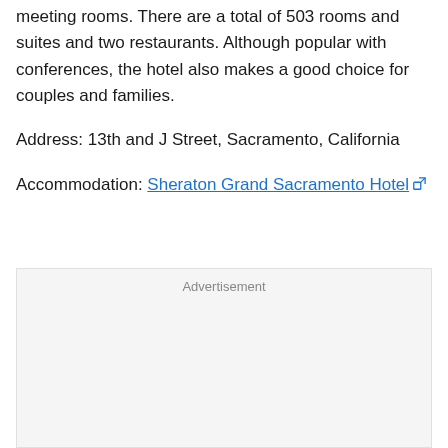meeting rooms. There are a total of 503 rooms and suites and two restaurants. Although popular with conferences, the hotel also makes a good choice for couples and families.
Address: 13th and J Street, Sacramento, California
Accommodation: Sheraton Grand Sacramento Hotel
[Figure (other): Advertisement placeholder box with 'Advertisement' label]